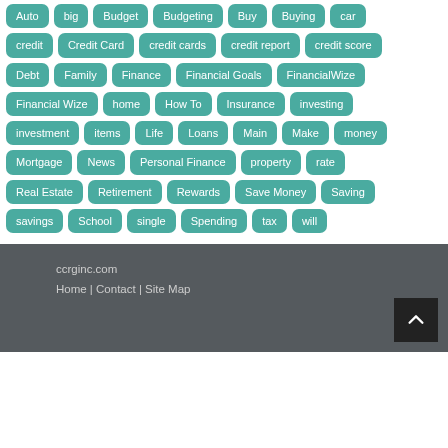Auto
big
Budget
Budgeting
Buy
Buying
car
credit
Credit Card
credit cards
credit report
credit score
Debt
Family
Finance
Financial Goals
FinancialWize
Financial Wize
home
How To
Insurance
investing
investment
items
Life
Loans
Main
Make
money
Mortgage
News
Personal Finance
property
rate
Real Estate
Retirement
Rewards
Save Money
Saving
savings
School
single
Spending
tax
will
ccrginc.com
Home | Contact | Site Map